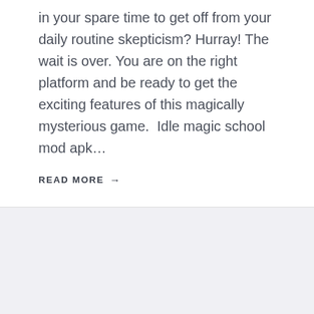in your spare time to get off from your daily routine skepticism? Hurray! The wait is over. You are on the right platform and be ready to get the exciting features of this magically mysterious game.  Idle magic school mod apk…
READ MORE →